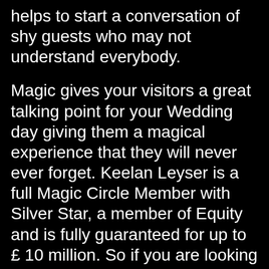helps to start a conversation of shy guests who may not understand everybody.
Magic gives your visitors a great talking point for your Wedding day giving them a magical experience that they will never ever forget. Keelan Leyser is a full Magic Circle Member with Silver Star, a member of Equity and is fully guaranteed for up to £ 10 million. So if you are looking for a Magician in Walton And Weybridge then you have come to the right place.
Keelan and his team of Close-up magicians have actually performed for many companies in Walton And